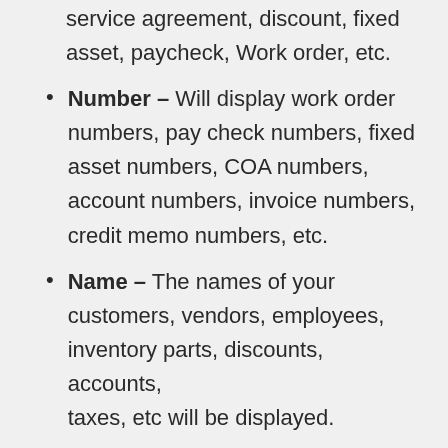Type – The record type, credit card, service agreement, discount, fixed asset, paycheck, Work order, etc.
Number – Will display work order numbers, pay check numbers, fixed asset numbers, COA numbers, account numbers, invoice numbers, credit memo numbers, etc.
Name – The names of your customers, vendors, employees, inventory parts, discounts, accounts, taxes, etc will be displayed.
Memo/Description – Will display the